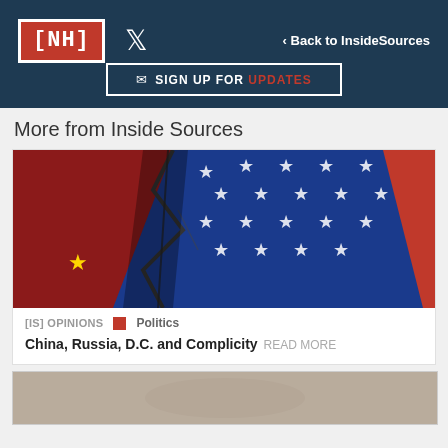[NH] | Twitter | < Back to InsideSources
✉ SIGN UP FOR UPDATES
More from Inside Sources
[Figure (photo): Photo of cracked Chinese and American flags merged together]
[IS] OPINIONS  ■  Politics
China, Russia, D.C. and Complicity  READ MORE
[Figure (photo): Partial view of a second article image at bottom of page]